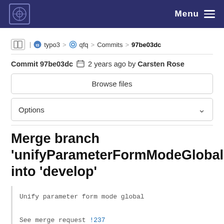Menu
typo3 > qfq > Commits > 97be03dc
Commit 97be03dc  2 years ago by Carsten Rose
Browse files
Options
Merge branch 'unifyParameterFormModeGlobal' into 'develop'
Unify parameter form mode global

See merge request !237